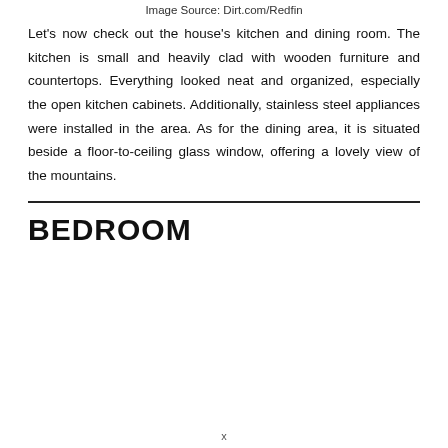Image Source: Dirt.com/Redfin
Let's now check out the house's kitchen and dining room. The kitchen is small and heavily clad with wooden furniture and countertops. Everything looked neat and organized, especially the open kitchen cabinets. Additionally, stainless steel appliances were installed in the area. As for the dining area, it is situated beside a floor-to-ceiling glass window, offering a lovely view of the mountains.
BEDROOM
x